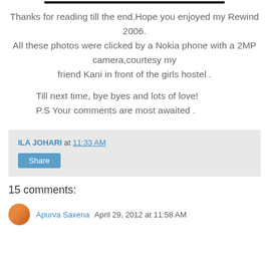Thanks for reading till the end.Hope you enjoyed my Rewind 2006.
All these photos were clicked by a Nokia phone with a 2MP camera,courtesy my friend Kani in front of the girls hostel .
Till next time, bye byes and lots of love!
P.S Your comments are most awaited .
ILA JOHARI at 11:33 AM
Share
15 comments:
Apurva Saxena April 29, 2012 at 11:58 AM